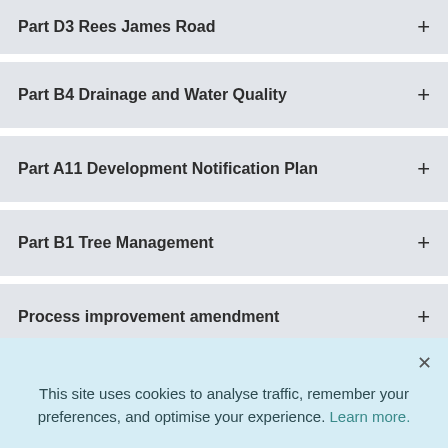Part D3 Rees James Road
Part B4 Drainage and Water Quality
Part A11 Development Notification Plan
Part B1 Tree Management
Process improvement amendment
This site uses cookies to analyse traffic, remember your preferences, and optimise your experience. Learn more.